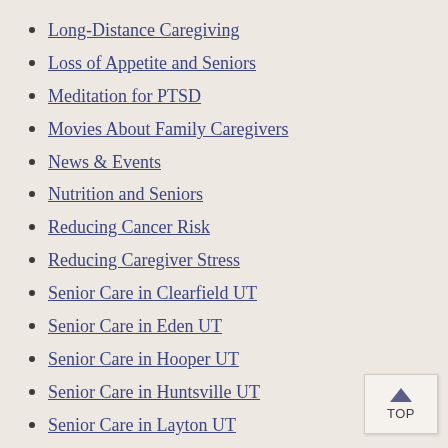Long-Distance Caregiving
Loss of Appetite and Seniors
Meditation for PTSD
Movies About Family Caregivers
News & Events
Nutrition and Seniors
Reducing Cancer Risk
Reducing Caregiver Stress
Senior Care in Clearfield UT
Senior Care in Eden UT
Senior Care in Hooper UT
Senior Care in Huntsville UT
Senior Care in Layton UT
Senior Care in Morgan UT
Senior Care in Morgan UT
Senior Care in Pleasant View UT